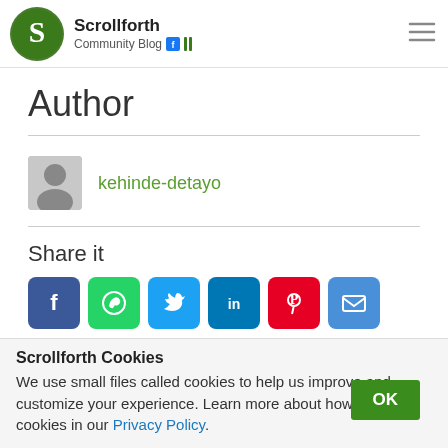Scrollforth Community Blog
Author
kehinde-detayo
Share it
[Figure (infographic): Social share buttons: Facebook, WhatsApp, Twitter, LinkedIn, Pinterest, Email]
Ad
Tags: Networking
Scrollforth Cookies
We use small files called cookies to help us improve and customize your experience. Learn more about how we use cookies in our Privacy Policy.